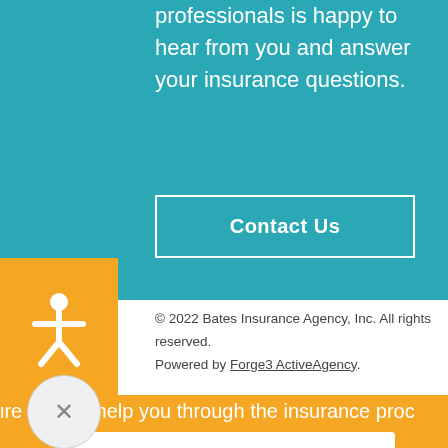professionals is happy to hear from you and answer your insurance questions.
[Figure (other): Contact Us button with white border on teal background]
[Figure (other): Accessibility icon - white person figure on orange/yellow square background]
© 2022 Bates Insurance Agency, Inc. All rights reserved. Powered by Forge3 ActiveAgency.
[Figure (other): Close (X) circular button]
ire here to help you through the insurance proc
[Figure (other): Get a Quote button - white button with orange text on orange background]
[Figure (other): Contact Us button - orange bordered button with white text on orange background]